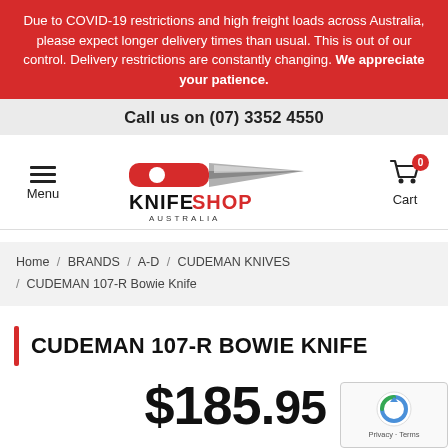Due to COVID-19 restrictions and high freight loads across Australia, please expect longer delivery times than usual. This is out of our control. Delivery restrictions are constantly changing. We appreciate your patience.
Call us on (07) 3352 4550
[Figure (logo): Knife Shop Australia logo with knife image and text]
Menu
Cart 0
Home / BRANDS / A-D / CUDEMAN KNIVES / CUDEMAN 107-R Bowie Knife
CUDEMAN 107-R BOWIE KNIFE
$185.95